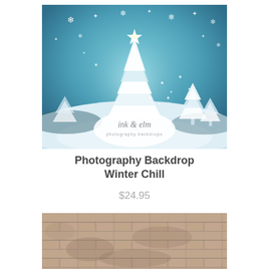[Figure (illustration): Winter scene photography backdrop showing white Christmas trees against a blue snowy sky with snowflakes and stars. Ink & Elm photography backdrops logo overlaid in an oval in the lower center.]
Photography Backdrop Winter Chill
$24.95
[Figure (photo): Partial view of a stone or brick wall texture backdrop in muted brown and tan tones, weathered appearance.]